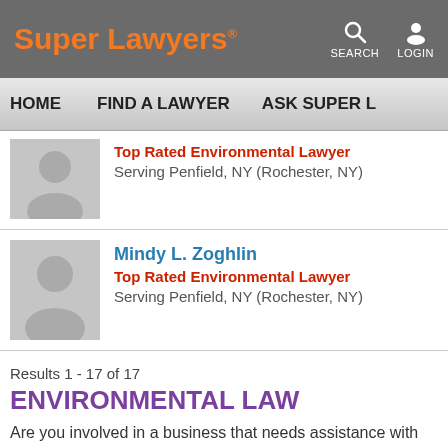Super Lawyers · SEARCH · LOGIN
HOME   FIND A LAWYER   ASK SUPER L
Top Rated Environmental Lawyer
Serving Penfield, NY (Rochester, NY)
Mindy L. Zoghlin
Top Rated Environmental Lawyer
Serving Penfield, NY (Rochester, NY)
Results 1 - 17 of 17
ENVIRONMENTAL LAW
Are you involved in a business that needs assistance with pollution control?